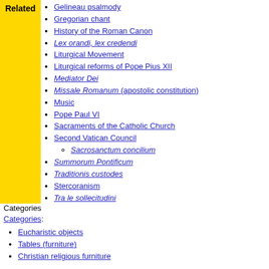Related
Gelineau psalmody
Gregorian chant
History of the Roman Canon
Lex orandi, lex credendi
Liturgical Movement
Liturgical reforms of Pope Pius XII
Mediator Dei
Missale Romanum (apostolic constitution)
Music
Pope Paul VI
Sacraments of the Catholic Church
Second Vatican Council
Sacrosanctum concilium
Summorum Pontificum
Traditionis custodes
Stercoranism
Tra le sollecitudini
Categories
Categories:
Eucharistic objects
Tables (furniture)
Christian religious furniture